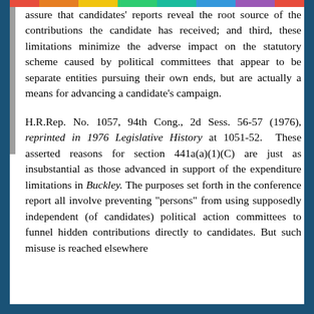assure that candidates' reports reveal the root source of the contributions the candidate has received; and third, these limitations minimize the adverse impact on the statutory scheme caused by political committees that appear to be separate entities pursuing their own ends, but are actually a means for advancing a candidate's campaign.
H.R.Rep. No. 1057, 94th Cong., 2d Sess. 56-57 (1976), reprinted in 1976 Legislative History at 1051-52. These asserted reasons for section 441a(a)(1)(C) are just as insubstantial as those advanced in support of the expenditure limitations in Buckley. The purposes set forth in the conference report all involve preventing "persons" from using supposedly independent (of candidates) political action committees to funnel hidden contributions directly to candidates. But such misuse is reached elsewhere